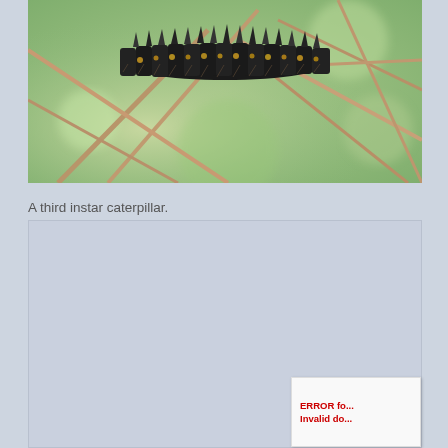[Figure (photo): Close-up photograph of a black spiky third instar caterpillar clinging to dried plant stems, with a blurred green background.]
A third instar caterpillar.
[Figure (other): A placeholder image box with an error message overlay reading 'ERROR fo... Invalid do...' in red text on a white popup, indicating a failed image load.]